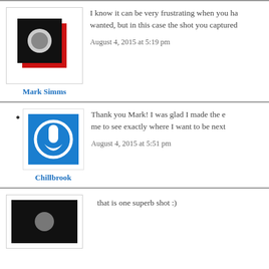I know it can be very frustrating when you ha... wanted, but in this case the shot you captured...
August 4, 2015 at 5:19 pm
Mark Simms
Thank you Mark! I was glad I made the e... me to see exactly where I want to be next...
August 4, 2015 at 5:51 pm
Chillbrook
that is one superb shot :)